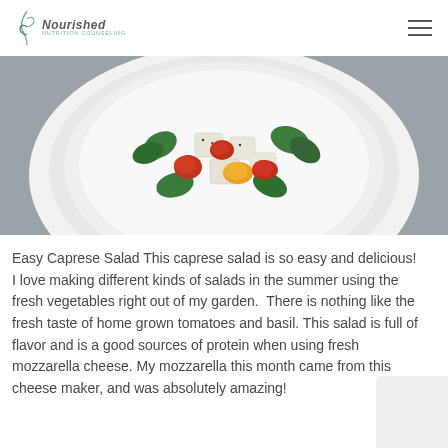Nourished Nutrition Counseling
[Figure (photo): Overhead photo of a white plate with caprese salad containing fresh mozzarella cubes, colorful tomatoes, and basil leaves on a grey surface]
Easy Caprese Salad This caprese salad is so easy and delicious!  I love making different kinds of salads in the summer using the fresh vegetables right out of my garden.  There is nothing like the fresh taste of home grown tomatoes and basil.  This salad is full of flavor and is a good sources of protein when using fresh mozzarella cheese.  My mozzarella this month came from this cheese maker, and was absolutely amazing!